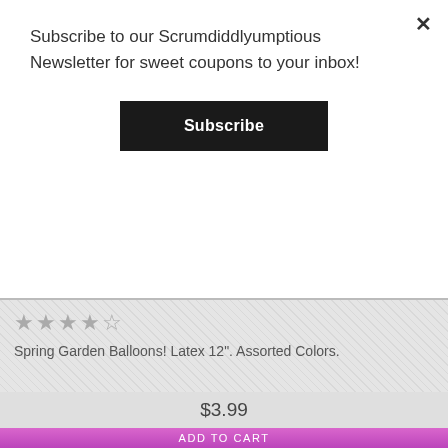Subscribe to our Scrumdiddlyumptious Newsletter for sweet coupons to your inbox!
Subscribe
★★★★☆
Spring Garden Balloons! Latex 12". Assorted Colors.
$3.99
ADD TO CART
[Figure (photo): Cookie Monster character with orange and blue party balloons]
Chat now